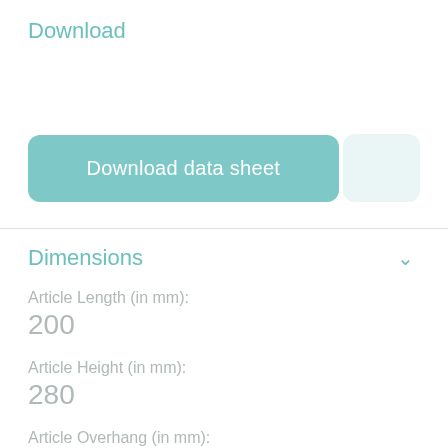Download
Download data sheet
Dimensions
Article Length (in mm):
200
Article Height (in mm):
280
Article Overhang (in mm):
380